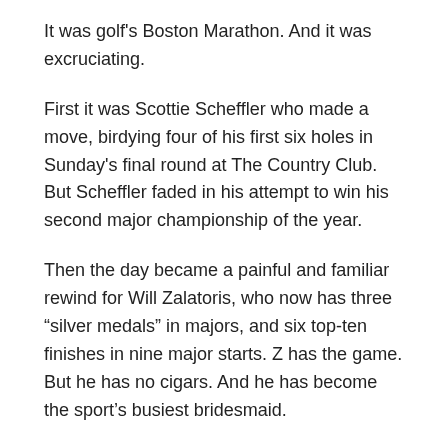It was golf's Boston Marathon. And it was excruciating.
First it was Scottie Scheffler who made a move, birdying four of his first six holes in Sunday's final round at The Country Club. But Scheffler faded in his attempt to win his second major championship of the year.
Then the day became a painful and familiar rewind for Will Zalatoris, who now has three “silver medals” in majors, and six top-ten finishes in nine major starts. Z has the game. But he has no cigars. And he has become the sport’s busiest bridesmaid.
Zalatoris was inches from a playoff. It might as well